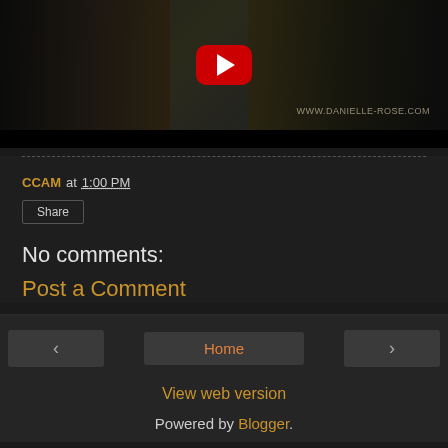[Figure (screenshot): YouTube video thumbnail showing book covers for Danielle Rose on the left, a YouTube play button in the center, and a fantasy glowing figure on the right. Website URL www.danielle-rose.com visible at bottom right.]
CCAM at 1:00 PM
Share
No comments:
Post a Comment
Home
View web version
Powered by Blogger.